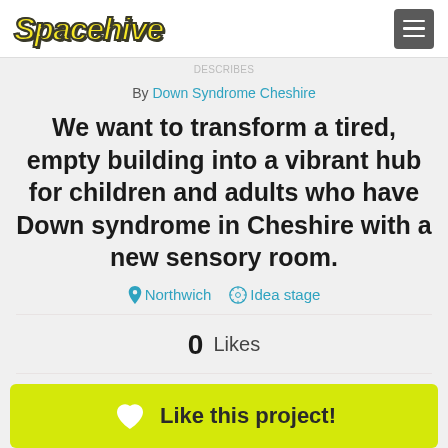Spacehive
By Down Syndrome Cheshire
We want to transform a tired, empty building into a vibrant hub for children and adults who have Down syndrome in Cheshire with a new sensory room.
Northwich  Idea stage
0 Likes
Like this project!